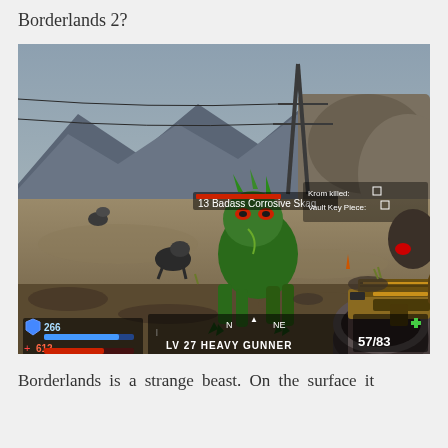Borderlands 2?
[Figure (screenshot): Borderlands 2 gameplay screenshot showing a first-person shooter perspective. A green Badass Corrosive Skag (level 13) enemy is visible in the center. The player holds a gold/black assault rifle in the lower right. HUD shows shields at 266, health at 612, and class LV 27 HEAVY GUNNER. Quest objectives show 'Krom killed' and 'Vault Key Piece' checkboxes. Rocky desert canyon environment with power lines in the background.]
Borderlands is a strange beast. On the surface it